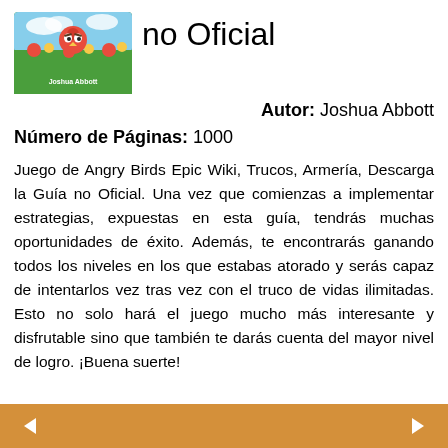[Figure (illustration): Book cover image for Angry Birds Epic game guide, colorful illustration with birds and green background]
no Oficial
Autor: Joshua Abbott
Número de Páginas: 1000
Juego de Angry Birds Epic Wiki, Trucos, Armería, Descarga la Guía no Oficial. Una vez que comienzas a implementar estrategias, expuestas en esta guía, tendrás muchas oportunidades de éxito. Además, te encontrarás ganando todos los niveles en los que estabas atorado y serás capaz de intentarlos vez tras vez con el truco de vidas ilimitadas. Esto no solo hará el juego mucho más interesante y disfrutable sino que también te darás cuenta del mayor nivel de logro. ¡Buena suerte!